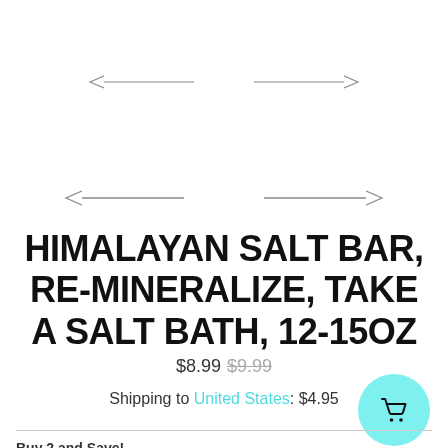[Figure (other): Navigation arrows: left chevron with line and right chevron with line, used as image carousel controls (top set, partially visible)]
[Figure (other): Navigation arrows: left chevron with line and right chevron with line, used as image carousel controls (middle set)]
HIMALAYAN SALT BAR, RE-MINERALIZE, TAKE A SALT BATH, 12-15OZ
$8.99 $9.99
Shipping to United States: $4.95
[Figure (other): Teal circular shopping cart button with cart icon]
Buy 2 and Save!